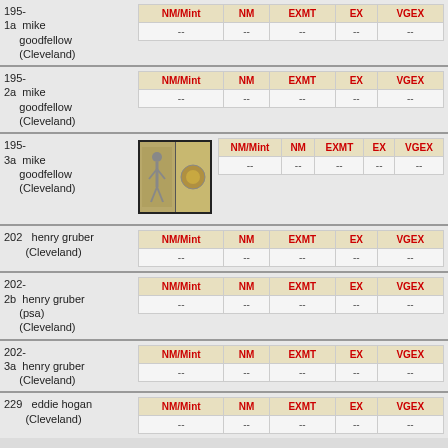| NM/Mint | NM | EXMT | EX | VGEX |
| --- | --- | --- | --- | --- |
| -- | -- | -- | -- | -- |
| NM/Mint | NM | EXMT | EX | VGEX |
| --- | --- | --- | --- | --- |
| -- | -- | -- | -- | -- |
[Figure (photo): Two-panel photo of mike goodfellow, showing figure on left and circular medallion on right]
| NM/Mint | NM | EXMT | EX | VGEX |
| --- | --- | --- | --- | --- |
| -- | -- | -- | -- | -- |
| NM/Mint | NM | EXMT | EX | VGEX |
| --- | --- | --- | --- | --- |
| -- | -- | -- | -- | -- |
| NM/Mint | NM | EXMT | EX | VGEX |
| --- | --- | --- | --- | --- |
| -- | -- | -- | -- | -- |
| NM/Mint | NM | EXMT | EX | VGEX |
| --- | --- | --- | --- | --- |
| -- | -- | -- | -- | -- |
| NM/Mint | NM | EXMT | EX | VGEX |
| --- | --- | --- | --- | --- |
| -- | -- | -- | -- | -- |